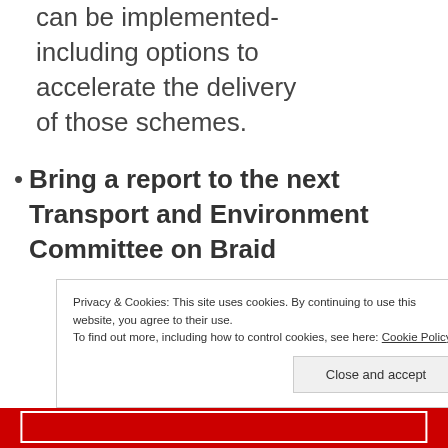can be implemented- including options to accelerate the delivery of those schemes.
Bring a report to the next Transport and Environment Committee on Braid
Privacy & Cookies: This site uses cookies. By continuing to use this website, you agree to their use. To find out more, including how to control cookies, see here: Cookie Policy